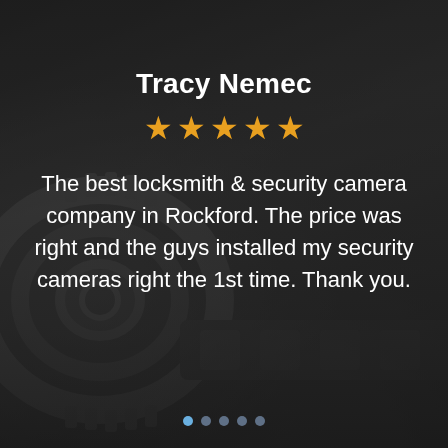Tracy Nemec
[Figure (other): Five gold star rating icons]
The best locksmith & security camera company in Rockford. The price was right and the guys installed my security cameras right the 1st time. Thank you.
[Figure (other): Carousel navigation dots, first dot active/highlighted]